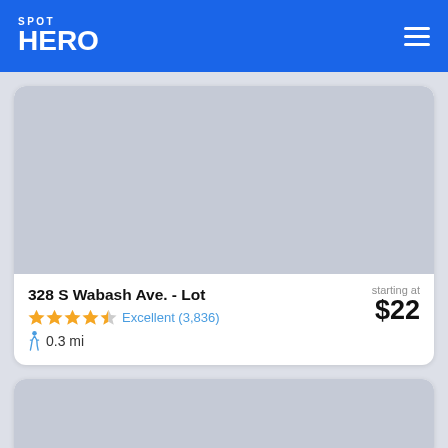SPOT HERO
[Figure (screenshot): SpotHero app screenshot showing a parking lot listing card with a gray placeholder image, title '328 S Wabash Ave. - Lot', 4.5-star rating labeled Excellent (3,836), distance 0.3 mi, and price starting at $22]
328 S Wabash Ave. - Lot
Excellent (3,836)
0.3 mi
starting at $22